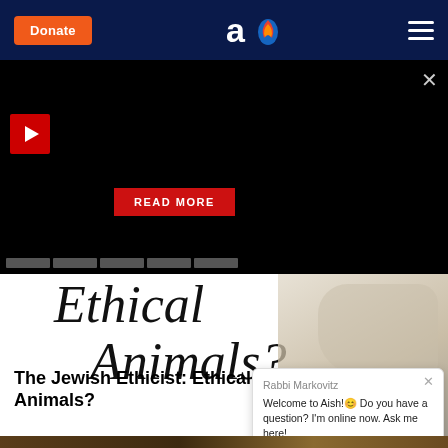[Figure (screenshot): Navigation bar with Donate button, Aish logo, and hamburger menu on dark navy background]
[Figure (screenshot): Black promotional band with play button and READ MORE button]
[Figure (illustration): Article header image showing italic serif text 'Ethical Animals?' with a blurred hand illustration on right]
The Jewish Ethicist: Ethical Animals?
[Figure (screenshot): Chat widget from Rabbi Markovitz: Welcome to Aish! Do you have a question? I'm online now. Ask me here!]
[Figure (photo): Bottom article thumbnail image strip]